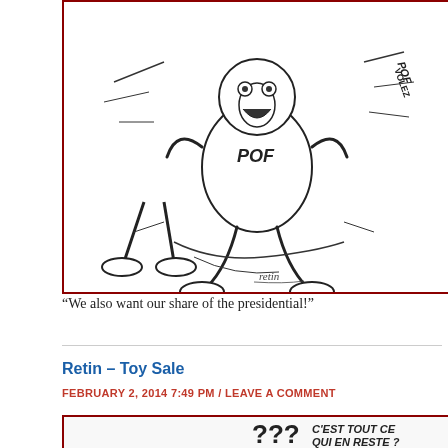[Figure (illustration): Political cartoon showing cartoon characters fighting/wrestling, labeled 'POF', with action lines and motion. Artist signature 'retin' visible at bottom. Black and white sketch style.]
“We also want our share of the presidential!”
Retin – Toy Sale
FEBRUARY 2, 2014 7:49 PM / LEAVE A COMMENT
[Figure (illustration): Cartoon image with three large question marks and text in French: 'C'EST TOUT CE QUI EN RESTE?' (Is this all that remains?). Black and white cartoon style.]